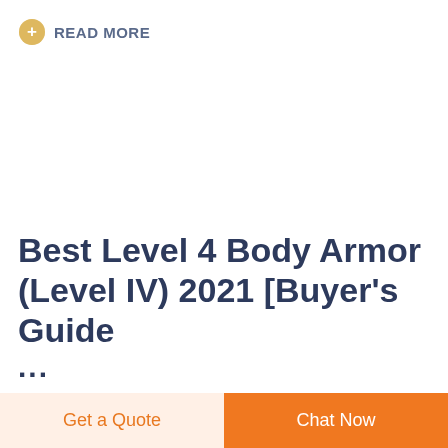READ MORE
Best Level 4 Body Armor (Level IV) 2021 [Buyer's Guide ...
Get a Quote
Chat Now